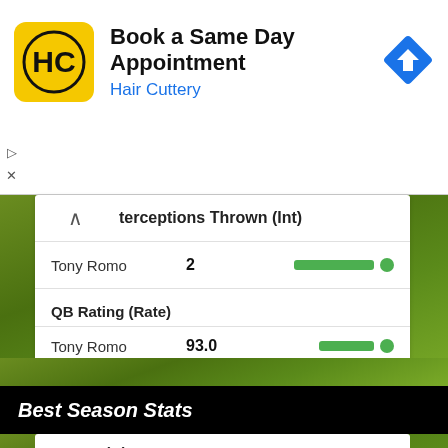[Figure (screenshot): Hair Cuttery advertisement banner: HC logo (yellow/black), title 'Book a Same Day Appointment', subtitle 'Hair Cuttery' in blue, blue diamond navigation icon on right. Play and X controls on left side.]
terceptions Thrown (Int)
Tony Romo   2
QB Rating (Rate)
Tony Romo   93.0
Best Season Stats
Games (G)
Tony Romo   16 (2012)